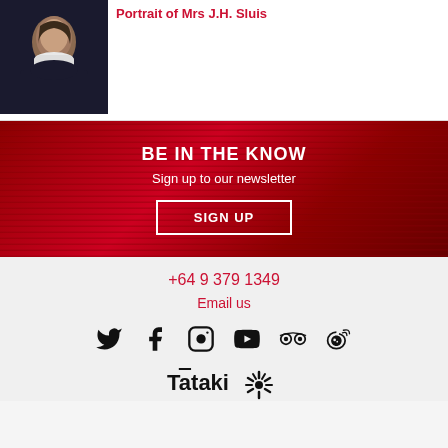Portrait of Mrs J.H. Sluis
[Figure (photo): Portrait painting of Mrs J.H. Sluis, a woman in dark clothing with white lace collar]
BE IN THE KNOW
Sign up to our newsletter
SIGN UP
+64 9 379 1349
Email us
[Figure (infographic): Social media icons: Twitter, Facebook, Instagram, YouTube, TripAdvisor, Weibo]
[Figure (logo): Tātaki logo with stylized sunburst icon]